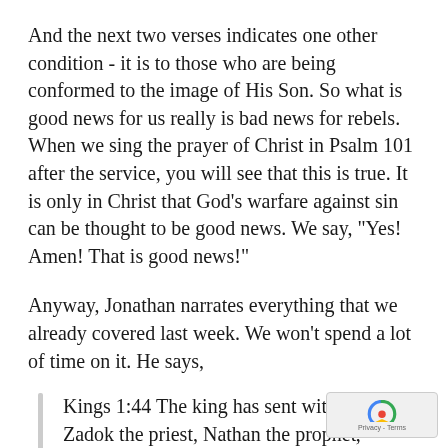And the next two verses indicates one other condition - it is to those who are being conformed to the image of His Son. So what is good news for us really is bad news for rebels. When we sing the prayer of Christ in Psalm 101 after the service, you will see that this is true. It is only in Christ that God's warfare against sin can be thought to be good news. We say, "Yes! Amen! That is good news!"
Anyway, Jonathan narrates everything that we already covered last week. We won't spend a lot of time on it. He says,
Kings 1:44 The king has sent with him Zadok the priest, Nathan the prophet,